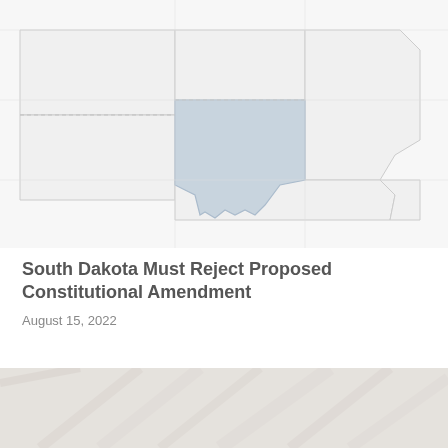[Figure (map): Map showing US states with South Dakota highlighted in light blue/gray. Surrounding states are shown in white with light gray borders.]
South Dakota Must Reject Proposed Constitutional Amendment
August 15, 2022
[Figure (photo): Partial photograph at bottom of page, showing fabric or clothing, faded/washed out appearance.]